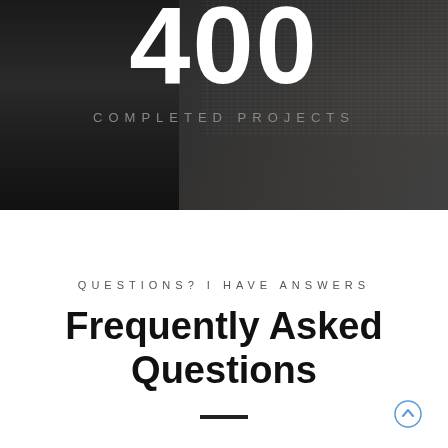[Figure (photo): Dark background hero section with laptop on desk, showing the number 400 in large white text and 'COMPLETED PROJECTS' in grey spaced letters below]
QUESTIONS? I HAVE ANSWERS
Frequently Asked Questions